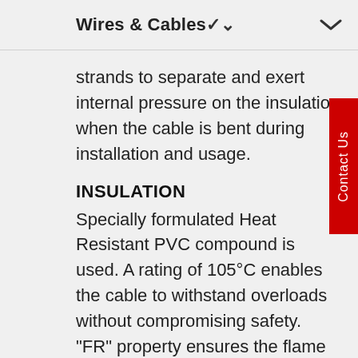Wires & Cables
strands to separate and exert internal pressure on the insulation when the cable is bent during installation and usage.
INSULATION
Specially formulated Heat Resistant PVC compound is used. A rating of 105°C enables the cable to withstand overloads without compromising safety. "FR" property ensures the flame is not propagated. The insulation is resistant to boiling water